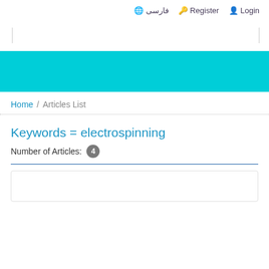فارسی   Register   Login
Home / Articles List
Keywords = electrospinning
Number of Articles: 4